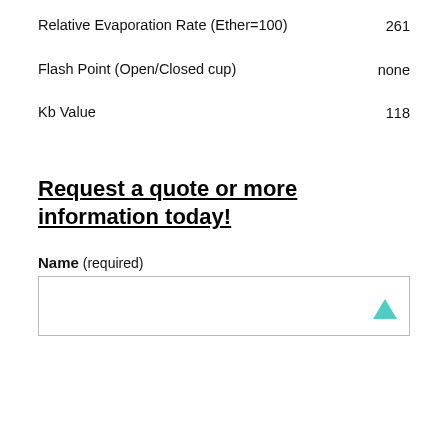| Property | Value |
| --- | --- |
| Relative Evaporation Rate (Ether=100) | 261 |
| Flash Point (Open/Closed cup) | none |
| Kb Value | 118 |
Request a quote or more information today!
Name (required)
[Figure (other): Text input form field with a teal/cyan arrow icon in the bottom-right corner]